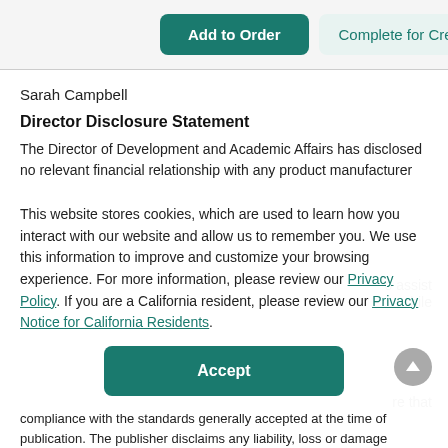[Figure (screenshot): Two buttons: 'Add to Order' (teal/dark green filled) and 'Complete for Credit' (light teal outlined)]
Sarah Campbell
Director Disclosure Statement
The Director of Development and Academic Affairs has disclosed no relevant financial relationship with any product manufacturer
This website stores cookies, which are used to learn how you interact with our website and allow us to remember you. We use this information to improve and customize your browsing experience. For more information, please review our Privacy Policy. If you are a California resident, please review our Privacy Notice for California Residents.
Accept
compliance with the standards generally accepted at the time of publication. The publisher disclaims any liability, loss or damage